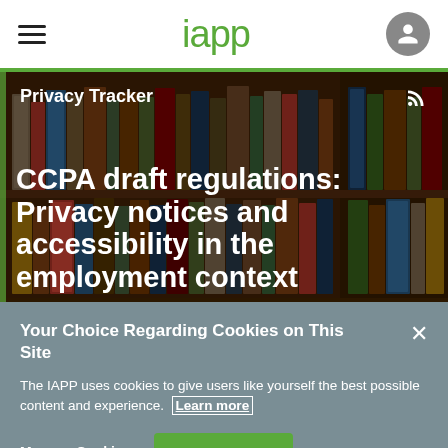iapp
Privacy Tracker
[Figure (photo): Background photo of bookshelves filled with law books in a library, dark warm tones]
CCPA draft regulations: Privacy notices and accessibility in the employment context
Your Choice Regarding Cookies on This Site
The IAPP uses cookies to give users like yourself the best possible content and experience. Learn more
Manage Cookies
Accept